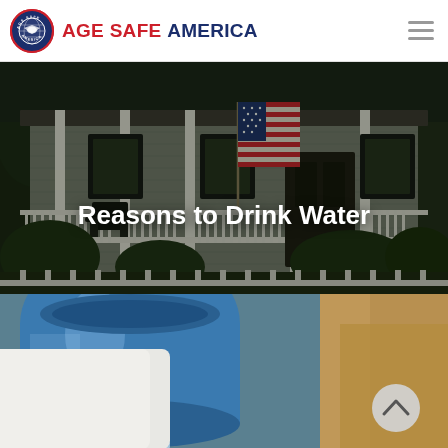AGE SAFE AMERICA
[Figure (photo): A front porch of an American suburban house with white railings, columns, an American flag, rocking chair, and shrubs. Dark/moody lighting. Text overlay reads 'Reasons to Drink Water'.]
Reasons to Drink Water
[Figure (photo): Close-up of a blue water pitcher/jug being tilted to pour water into a glass, held by a person in white clothing. Background shows a blurred figure.]